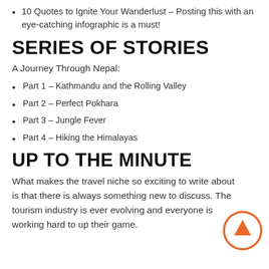10 Quotes to Ignite Your Wanderlust – Posting this with an eye-catching infographic is a must!
SERIES OF STORIES
A Journey Through Nepal:
Part 1 – Kathmandu and the Rolling Valley
Part 2 – Perfect Pokhara
Part 3 – Jungle Fever
Part 4 – Hiking the Himalayas
UP TO THE MINUTE
What makes the travel niche so exciting to write about is that there is always something new to discuss. The tourism industry is ever evolving and everyone is working hard to up their game.
[Figure (illustration): Orange circle button with upward arrow icon]